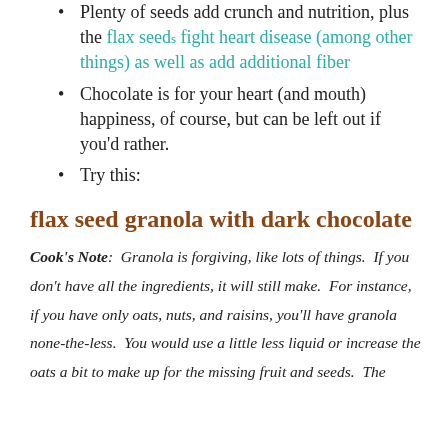Plenty of seeds add crunch and nutrition, plus the flax seeds fight heart disease (among other things) as well as add additional fiber
Chocolate is for your heart (and mouth) happiness, of course, but can be left out if you'd rather.
Try this:
flax seed granola with dark chocolate
Cook's Note: Granola is forgiving, like lots of things. If you don't have all the ingredients, it will still make. For instance, if you have only oats, nuts, and raisins, you'll have granola none-the-less. You would use a little less liquid or increase the oats a bit to make up for the missing fruit and seeds. The